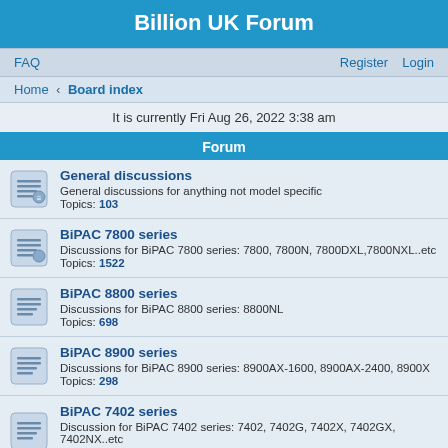Billion UK Forum
FAQ   Register   Login
Home › Board index
It is currently Fri Aug 26, 2022 3:38 am
Forum
General discussions
General discussions for anything not model specific
Topics: 103
BiPAC 7800 series
Discussions for BiPAC 7800 series: 7800, 7800N, 7800DXL,7800NXL..etc
Topics: 1522
BiPAC 8800 series
Discussions for BiPAC 8800 series: 8800NL
Topics: 698
BiPAC 8900 series
Discussions for BiPAC 8900 series: 8900AX-1600, 8900AX-2400, 8900X
Topics: 298
BiPAC 7402 series
Discussion for BiPAC 7402 series: 7402, 7402G, 7402X, 7402GX, 7402NX..etc
Topics: 54